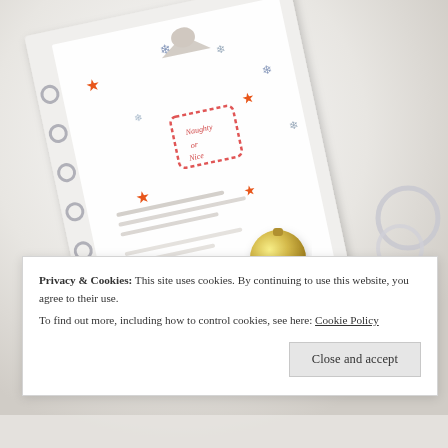[Figure (photo): A flatlay photo of a Christmas-themed planner or binder with decorative snowflakes, orange/red stars, a reindeer graphic and 'Naughty or Nice' stamp-style text, surrounded by silver binder rings, a gold ornament, and golden ribbon on a white surface.]
Privacy & Cookies: This site uses cookies. By continuing to use this website, you agree to their use.
To find out more, including how to control cookies, see here: Cookie Policy
Close and accept